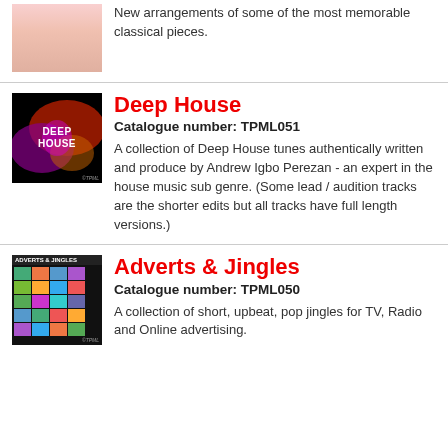New arrangements of some of the most memorable classical pieces.
Deep House
Catalogue number: TPML051
A collection of Deep House tunes authentically written and produce by Andrew Igbo Perezan - an expert in the house music sub genre. (Some lead / audition tracks are the shorter edits but all tracks have full length versions.)
Adverts & Jingles
Catalogue number: TPML050
A collection of short, upbeat, pop jingles for TV, Radio and Online advertising.